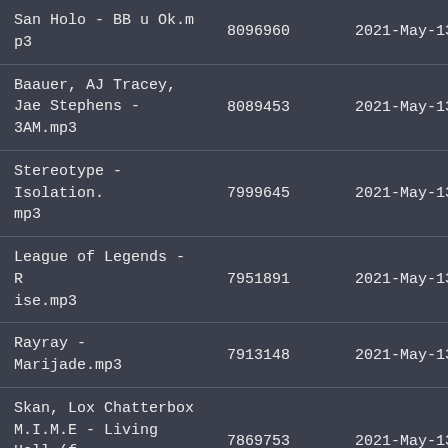| San Holo - BB u Ok.mp3 | 8096960 | 2021-May-13 07:51 |
| Baauer, AJ Tracey, Jae Stephens - 3AM.mp3 | 8089453 | 2021-May-13 07:51 |
| Stereotype - Isolation.mp3 | 7999645 | 2021-May-13 07:51 |
| League of Legends - Rise.mp3 | 7951891 | 2021-May-13 07:51 |
| Rayray - Marijade.mp3 | 7913148 | 2021-May-13 07:51 |
| Skan, Lox Chatterbox M.I.M.E - Living Hell (feat. Blvkstn).mp3 | 7869753 | 2021-May-13 07:51 |